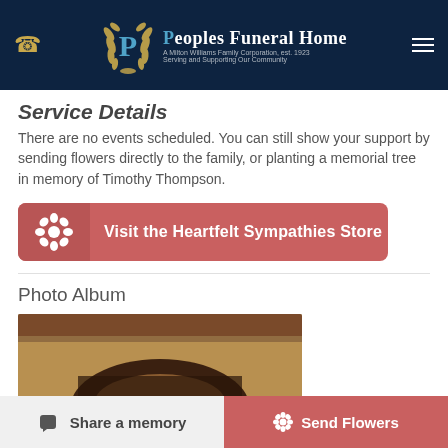Peoples Funeral Home — A Milton Williams Family Corporation, est. 1923 — Serving and Supporting Our Community
Service Details
There are no events scheduled. You can still show your support by sending flowers directly to the family, or planting a memorial tree in memory of Timothy Thompson.
Visit the Heartfelt Sympathies Store
Photo Album
[Figure (photo): Partial portrait photo of a person (Timothy Thompson), showing top of head with dark hair against a warm brown/tan background.]
Share a memory
Send Flowers